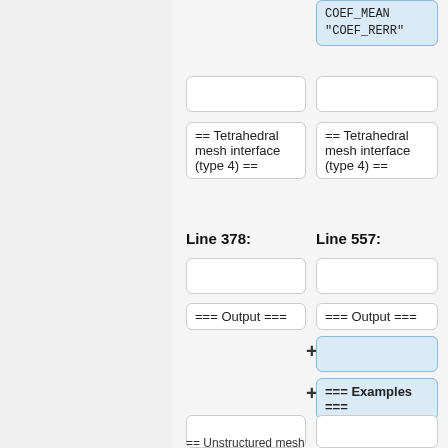[Figure (screenshot): Diff view showing two columns of code/wiki comparison boxes with line numbers 378 and 557. Left column shows unchanged content, right column shows added content highlighted in blue. Boxes include: Tetrahedral mesh interface (type 4) ==, Output ===, Examples ===, Unstructured mesh based interface (type 7) ==. Plus signs indicate added lines.]
== Tetrahedral mesh interface (type 4) ==
Line 378:
Line 557:
=== Output ===
=== Examples ===
== Unstructured mesh based interface (type 7) ==